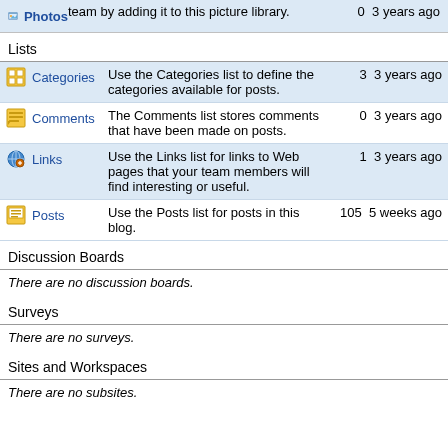| Name | Description | Count | Modified |
| --- | --- | --- | --- |
| Photos | team by adding it to this picture library. | 0 | 3 years ago |
Lists
| Name | Description | Count | Modified |
| --- | --- | --- | --- |
| Categories | Use the Categories list to define the categories available for posts. | 3 | 3 years ago |
| Comments | The Comments list stores comments that have been made on posts. | 0 | 3 years ago |
| Links | Use the Links list for links to Web pages that your team members will find interesting or useful. | 1 | 3 years ago |
| Posts | Use the Posts list for posts in this blog. | 105 | 5 weeks ago |
Discussion Boards
There are no discussion boards.
Surveys
There are no surveys.
Sites and Workspaces
There are no subsites.